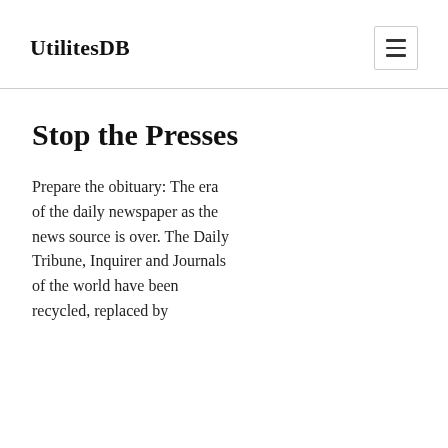UtilitesDB
Stop the Presses
Prepare the obituary: The era of the daily newspaper as the news source is over. The Daily Tribune, Inquirer and Journals of the world have been recycled, replaced by